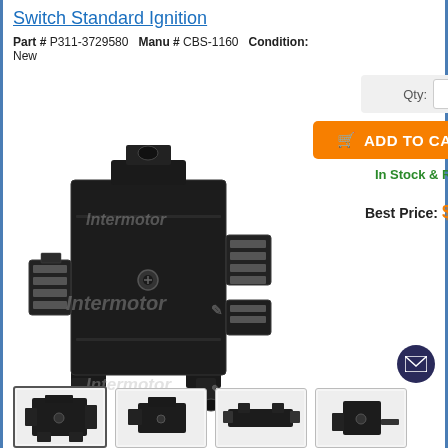Switch Standard Ignition
Part # P311-3729580   Manu # CBS-1160   Condition: New
[Figure (photo): Black ignition switch module (Standard brand, CBS-1160) with wiring connectors, shown from an angle. Product image has 'Intermotor' watermark.]
Qty: 1
ADD TO CART
In Stock & Ready to Ship
Best Price: $71.45
[Figure (photo): Three thumbnail images of the ignition switch from different angles.]